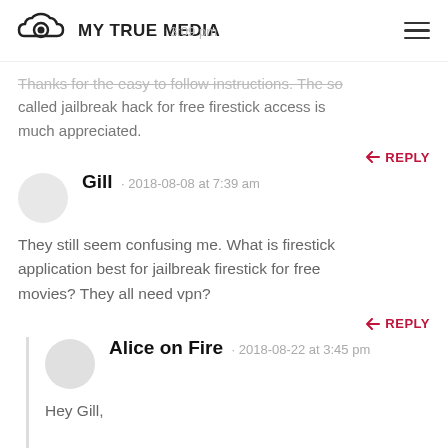MY TRUE MEDIA
Thanks for the easy to follow instructions. The so called jailbreak hack for free firestick access is much appreciated.
REPLY
Gill · 2018-08-08 at 7:39 am
They still seem confusing me. What is firestick application best for jailbreak firestick for free movies? They all need vpn?
REPLY
Alice on Fire · 2018-08-22 at 3:45 pm
Hey Gill,
Thanks for the comment. I know it's confusing, as there are a lot of streaming apps for the Firestick to get free movies. If you just want to look at a list